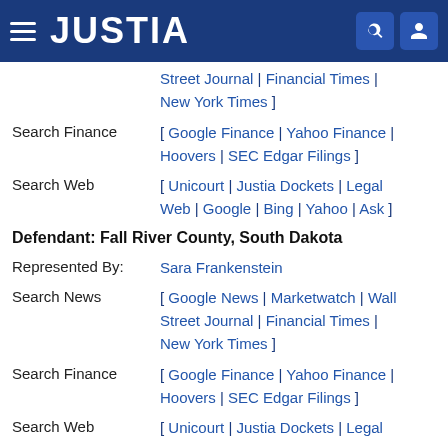JUSTIA
Street Journal | Financial Times | New York Times ]
Search Finance [ Google Finance | Yahoo Finance | Hoovers | SEC Edgar Filings ]
Search Web [ Unicourt | Justia Dockets | Legal Web | Google | Bing | Yahoo | Ask ]
Defendant: Fall River County, South Dakota
Represented By: Sara Frankenstein
Search News [ Google News | Marketwatch | Wall Street Journal | Financial Times | New York Times ]
Search Finance [ Google Finance | Yahoo Finance | Hoovers | SEC Edgar Filings ]
Search Web [ Unicourt | Justia Dockets | Legal